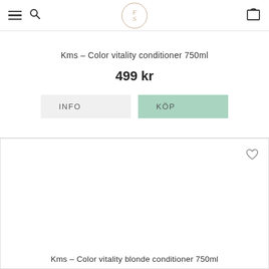FS logo, hamburger menu, search, cart
Kms – Color vitality conditioner 750ml
499 kr
INFO
KÖP
[Figure (other): Second product card area showing blank white image space with heart/wishlist icon and product title at bottom]
Kms – Color vitality blonde conditioner 750ml